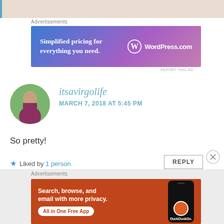[Figure (other): Top beige/tan bar with blue left border accent]
Advertisements
[Figure (infographic): WordPress.com advertisement banner: 'Simplified pricing for everything you need.' with WordPress logo on blue-purple gradient background]
REPORT THIS AD
[Figure (photo): Circular avatar photo of a woman standing outdoors]
itsavirgolife
MARCH 7, 2018 AT 5:45 PM
So pretty!
★ Liked by 1 person
REPLY
Advertisements
[Figure (infographic): DuckDuckGo advertisement: 'Search, browse, and email with more privacy. All in One Free App' with phone graphic on orange/red background]